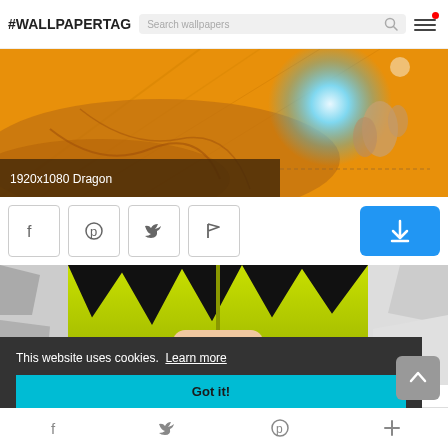#WALLPAPERTAG — Search wallpapers
[Figure (screenshot): Anime Dragon Ball wallpaper showing a character in orange gi with glowing energy sphere, labeled 1920x1080 Dragon]
1920x1080 Dragon
[Figure (screenshot): Social share buttons: Facebook, Pinterest, Twitter, Flag; plus blue download button]
[Figure (screenshot): Second anime wallpaper thumbnail showing Super Saiyan character with spiky yellow-green hair on dark background]
This website uses cookies.  Learn more
Got it!
Facebook  Twitter  Pinterest  +